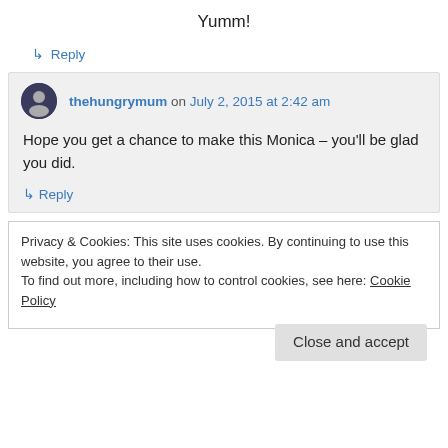Yumm!
↳ Reply
thehungrymum on July 2, 2015 at 2:42 am
Hope you get a chance to make this Monica – you'll be glad you did.
↳ Reply
Privacy & Cookies: This site uses cookies. By continuing to use this website, you agree to their use. To find out more, including how to control cookies, see here: Cookie Policy
Close and accept